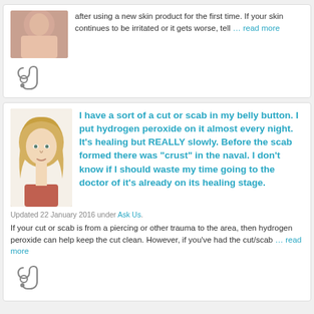after using a new skin product for the first time. If your skin continues to be irritated or it gets worse, tell … read more
[Figure (photo): Photo of person's neck/chin area]
[Figure (illustration): Stethoscope icon]
I have a sort of a cut or scab in my belly button. I put hydrogen peroxide on it almost every night. It’s healing but REALLY slowly. Before the scab formed there was “crust” in the naval. I don’t know if I should waste my time going to the doctor of it’s already on its healing stage.
[Figure (photo): Photo of a blonde young woman with a puzzled expression]
Updated 22 January 2016 under Ask Us.
If your cut or scab is from a piercing or other trauma to the area, then hydrogen peroxide can help keep the cut clean. However, if you’ve had the cut/scab … read more
[Figure (illustration): Stethoscope icon]